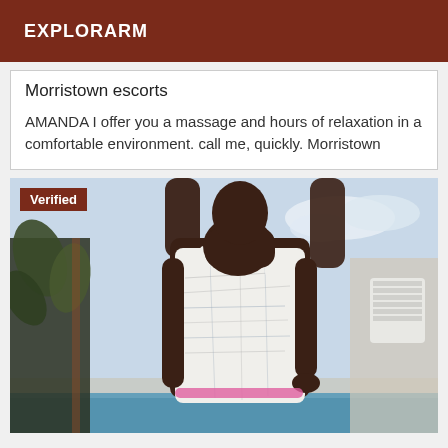EXPLORARM
Morristown escorts
AMANDA I offer you a massage and hours of relaxation in a comfortable environment. call me, quickly. Morristown
[Figure (photo): Woman in a printed swimsuit at a poolside, holding a white cup, with tropical plants in background. A 'Verified' badge appears in the top-left corner of the image.]